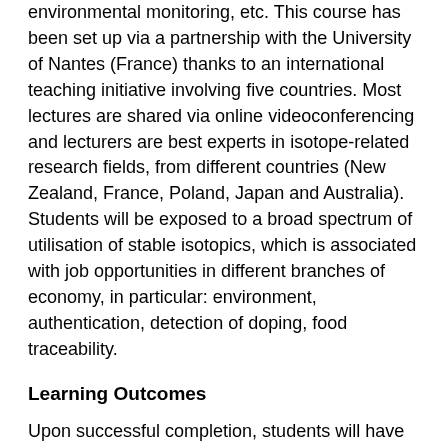environmental monitoring, etc. This course has been set up via a partnership with the University of Nantes (France) thanks to an international teaching initiative involving five countries. Most lectures are shared via online videoconferencing and lecturers are best experts in isotope-related research fields, from different countries (New Zealand, France, Poland, Japan and Australia). Students will be exposed to a broad spectrum of utilisation of stable isotopics, which is associated with job opportunities in different branches of economy, in particular: environment, authentication, detection of doping, food traceability.
Learning Outcomes
Upon successful completion, students will have the knowledge and skills to:
Describe the importance of stable isotopes in various areas;
Explain how isotope abundance can be measured and